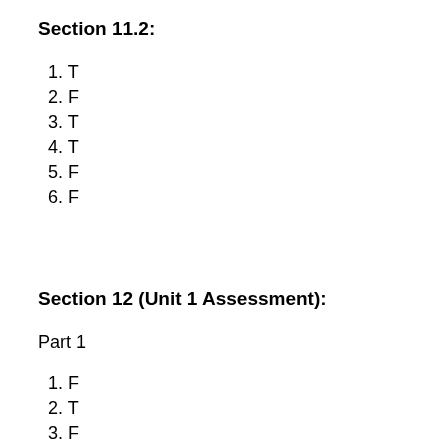Section 11.2:
1. T
2. F
3. T
4. T
5. F
6. F
Section 12 (Unit 1 Assessment):
Part 1
1. F
2. T
3. F
4. T